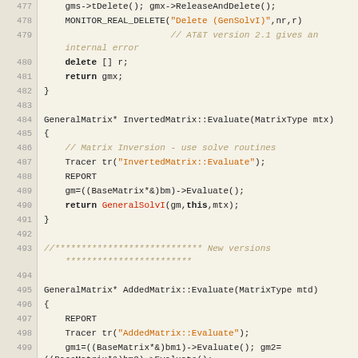Source code listing, lines 477-503, C++ matrix operations